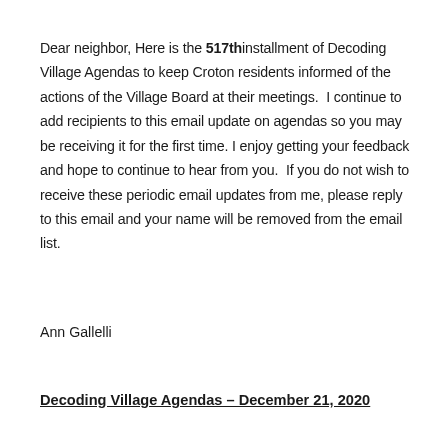Dear neighbor, Here is the 517th installment of Decoding Village Agendas to keep Croton residents informed of the actions of the Village Board at their meetings.  I continue to add recipients to this email update on agendas so you may be receiving it for the first time. I enjoy getting your feedback and hope to continue to hear from you.  If you do not wish to receive these periodic email updates from me, please reply to this email and your name will be removed from the email list.
Ann Gallelli
Decoding Village Agendas – December 21, 2020